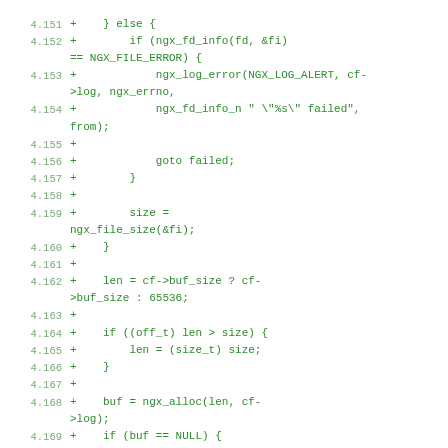[Figure (screenshot): Code diff showing lines 4.151 to 4.171 of a C source file with added lines (prefix +) in green monospace font, showing nginx file copy logic including ngx_fd_info, ngx_log_error, ngx_file_size, ngx_alloc calls.]